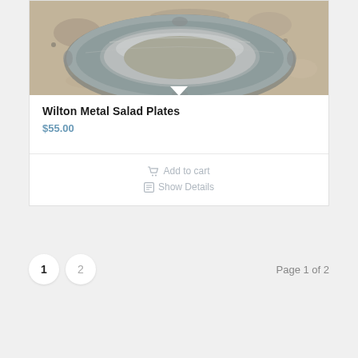[Figure (photo): Close-up photo of Wilton metal salad plates on a granite countertop, showing silver/pewter-colored decorative plate with ridged edges]
Wilton Metal Salad Plates
$55.00
Add to cart
Show Details
1  2  Page 1 of 2